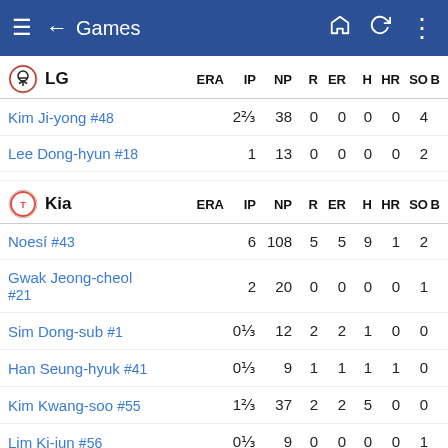Games
| Player | ERA | IP | NP | R | ER | H | HR | SO |
| --- | --- | --- | --- | --- | --- | --- | --- | --- |
| Kim Ji-yong #48 |  | 2 ⅔ | 38 | 0 | 0 | 0 | 0 | 4 |
| Lee Dong-hyun #18 |  | 1 | 13 | 0 | 0 | 0 | 0 | 2 |
| Player | ERA | IP | NP | R | ER | H | HR | SO |
| --- | --- | --- | --- | --- | --- | --- | --- | --- |
| Noesí #43 |  | 6 | 108 | 5 | 5 | 9 | 1 | 2 |
| Gwak Jeong-cheol #21 |  | 2 | 20 | 0 | 0 | 0 | 0 | 1 |
| Sim Dong-sub #1 |  | 0 ⅓ | 12 | 2 | 2 | 1 | 0 | 0 |
| Han Seung-hyuk #41 |  | 0 ⅓ | 9 | 1 | 1 | 1 | 1 | 0 |
| Kim Kwang-soo #55 |  | 1 ⅔ | 37 | 2 | 2 | 5 | 0 | 0 |
| Lim Ki-jun #56 |  | 0 ⅓ | 9 | 0 | 0 | 0 | 0 | 1 |
| Choi Young-pil #19 |  | 0 ⅓ | 6 | 0 | 0 | 0 | 0 | 1 |